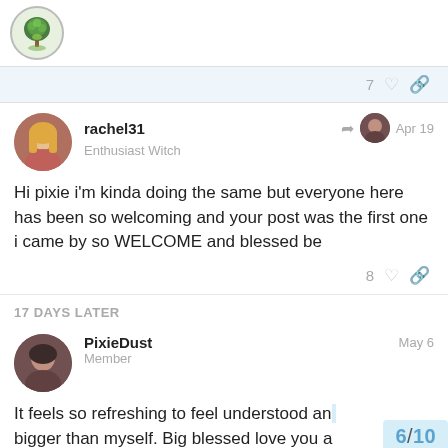[Figure (logo): Green tree/nature logo circle icon]
7 ♡ 🔗
rachel31
Enthusiast Witch
Apr 19
Hi pixie i'm kinda doing the same but everyone here has been so welcoming and your post was the first one i came by so WELCOME and blessed be
8 ♡ 🔗
17 DAYS LATER
PixieDust
Member
May 6
It feels so refreshing to feel understood an bigger than myself. Big blessed love you a
6 / 10